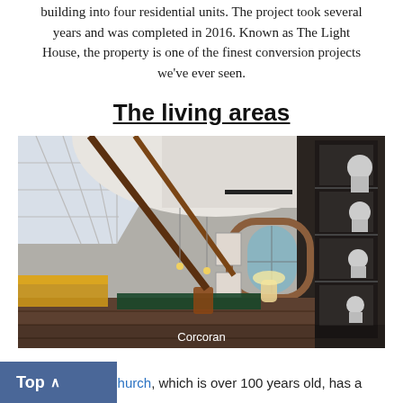building into four residential units. The project took several years and was completed in 2016. Known as The Light House, the property is one of the finest conversion projects we've ever seen.
The living areas
[Figure (photo): Interior photo of a large converted church living space showing an open-plan kitchen, dining area, and living room with high ceilings, exposed brick, large arched windows, industrial beams, and modern furnishings. Image credit: Corcoran.]
Corcoran
The historic church, which is over 100 years old, has a